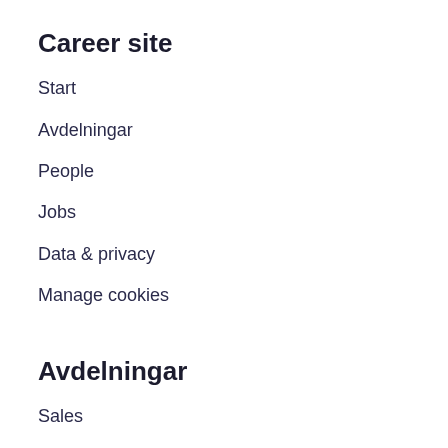Career site
Start
Avdelningar
People
Jobs
Data & privacy
Manage cookies
Avdelningar
Sales
Human Resources
Development